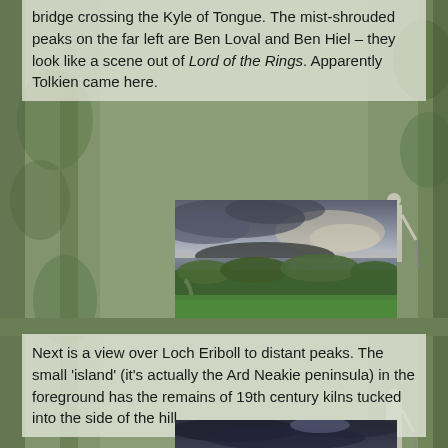bridge crossing the Kyle of Tongue. The mist-shrouded peaks on the far left are Ben Loval and Ben Hiel – they look like a scene out of Lord of the Rings. Apparently Tolkien came here.
[Figure (photo): Landscape photograph showing a scenic view with green shrubby vegetation in the foreground, a body of water (loch or sea loch) in the middle distance, a low dark hill or island on the horizon, and a dramatic cloudy sky with light breaking through the clouds.]
Next is a view over Loch Eriboll to distant peaks. The small 'island' (it's actually the Ard Neakie peninsula) in the foreground has the remains of 19th century kilns tucked into the side of the hill.
[Figure (photo): Partially visible landscape photograph showing a dramatic dark cloudy sky, appearing to be a view over Loch Eriboll.]